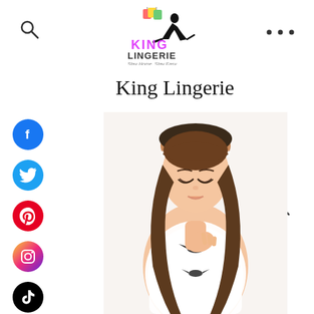[Figure (logo): King Lingerie logo with silhouette of woman sitting with shopping bags and text 'King Lingerie Stay Home, Shop Easy']
King Lingerie
[Figure (other): Social media sidebar icons: Facebook (blue), Twitter (light blue), Pinterest (red), Instagram (gradient), TikTok (black)]
[Figure (photo): Young Asian woman with long brown hair wearing white lace lingerie with black bow at neckline, looking down with hand near chest, wearing white headband]